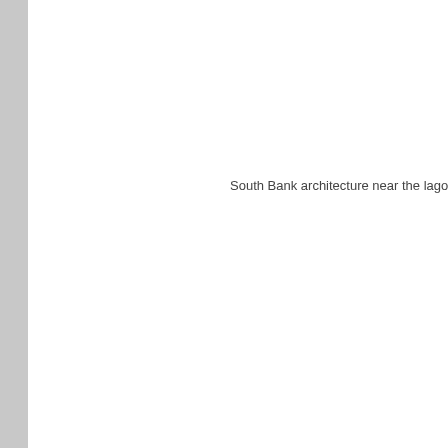South Bank architecture near the lagoo